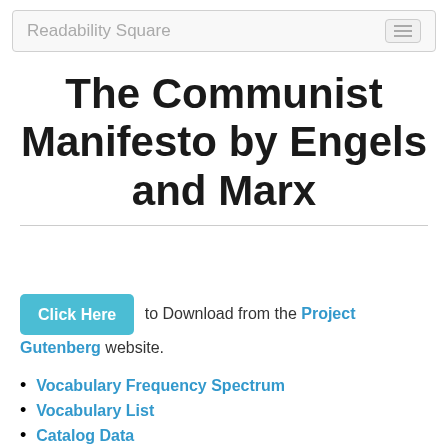Readability Square
The Communist Manifesto by Engels and Marx
Click Here to Download from the Project Gutenberg website.
Vocabulary Frequency Spectrum
Vocabulary List
Catalog Data